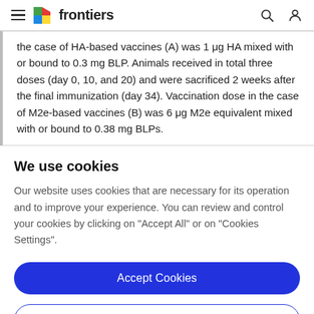frontiers
the case of HA-based vaccines (A) was 1 μg HA mixed with or bound to 0.3 mg BLP. Animals received in total three doses (day 0, 10, and 20) and were sacrificed 2 weeks after the final immunization (day 34). Vaccination dose in the case of M2e-based vaccines (B) was 6 μg M2e equivalent mixed with or bound to 0.38 mg BLPs.
We use cookies
Our website uses cookies that are necessary for its operation and to improve your experience. You can review and control your cookies by clicking on "Accept All" or on "Cookies Settings".
Accept Cookies
Cookies Settings